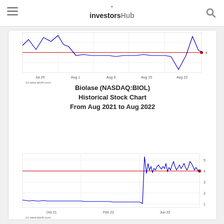investorsHub
[Figure (continuous-plot): Partial top view of Biolase stock chart (short-term, Jul 25 to Aug 22), showing blue price line with peaks, and a red horizontal reference line near 4. X-axis labels: Jul 25, Aug 1, Aug 8, Aug 15, Aug 22. Y-axis shows value 4. Credit: (c) www.advfn.com]
Biolase (NASDAQ:BIOL)
Historical Stock Chart
From Aug 2021 to Aug 2022
[Figure (continuous-plot): Biolase (NASDAQ:BIOL) Historical Stock Chart from Aug 2021 to Aug 2022. Blue line chart showing price near 1 from Oct 21 through May 22, then a sharp spike up around Jun 22 reaching ~5.5, then trading between roughly 4 and 5.5 through Aug 22. A red horizontal reference line at approximately 4. Y-axis labels: 1, 2, 3, 4, 5. X-axis labels: Oct 21, Feb 22, Jun 22. Credit: (c) www.advfn.com]